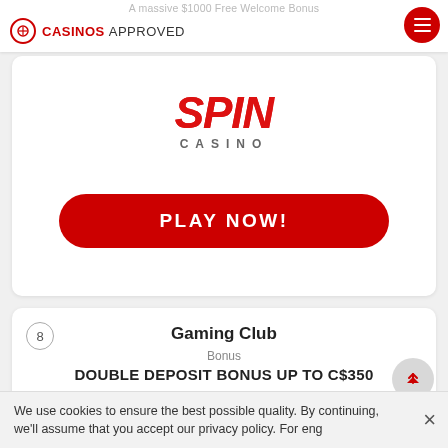A massive $1000 Free Welcome Bonus
[Figure (logo): Casinos Approved logo with red circular icon and text]
[Figure (logo): Spin Casino logo — SPIN in red italic bold with CASINO in grey below]
PLAY NOW!
8
Gaming Club
Bonus
DOUBLE DEPOSIT BONUS UP TO C$350
[Figure (logo): GamingClub 1st Online Casino logo in green and gold with gem icon]
We use cookies to ensure the best possible quality. By continuing, we'll assume that you accept our privacy policy. For eng